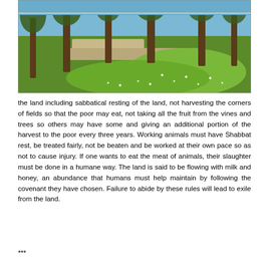[Figure (photo): Outdoor scene showing an olive grove or orchard with grass and wildflowers on the ground, trees with gnarled trunks, blue sky or water visible in the background, and a path running through the landscape.]
the land including sabbatical resting of the land, not harvesting the corners of fields so that the poor may eat, not taking all the fruit from the vines and trees so others may have some and giving an additional portion of the harvest to the poor every three years. Working animals must have Shabbat rest, be treated fairly, not be beaten and be worked at their own pace so as not to cause injury. If one wants to eat the meat of animals, their slaughter must be done in a humane way. The land is said to be flowing with milk and honey, an abundance that humans must help maintain by following the covenant they have chosen. Failure to abide by these rules will lead to exile from the land.
***